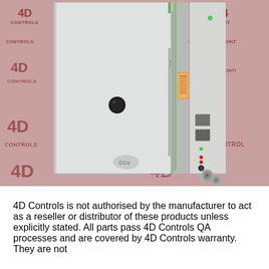[Figure (photo): Industrial control module/card shown standing upright on a surface covered with 4D Controls branded backdrop. The device is a slim rectangular module with light grey casing, indicator LEDs, BNC connectors at bottom, and a warning label on the side panel.]
4D Controls is not authorised by the manufacturer to act as a reseller or distributor of these products unless explicitly stated. All parts pass 4D Controls QA processes and are covered by 4D Controls warranty. They are not